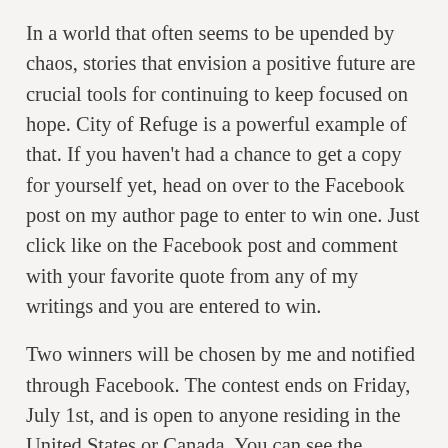In a world that often seems to be upended by chaos, stories that envision a positive future are crucial tools for continuing to keep focused on hope. City of Refuge is a powerful example of that. If you haven't had a chance to get a copy for yourself yet, head on over to the Facebook post on my author page to enter to win one. Just click like on the Facebook post and comment with your favorite quote from any of my writings and you are entered to win.
Two winners will be chosen by me and notified through Facebook. The contest ends on Friday, July 1st, and is open to anyone residing in the United States or Canada. You can see the official contest rules below.
City of Refuge is available on Amazon as an Ebook or Paperback. If you already own a copy, you can still enter!